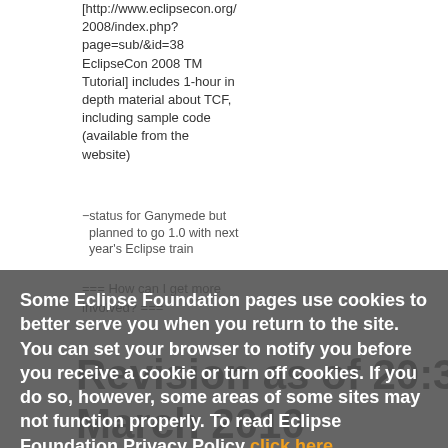[http://www.eclipsecon.org/2008/index.php?page=sub/&id=38 EclipseCon 2008 TM Tutorial] includes 1-hour in depth material about TCF, including sample code (available from the website)
[http://www.eclipsecon.org/2008/index.php?page=sub/&id=38 EclipseCon 2008 TM Tutorial] includes 1-hour in depth material about TCF, including sample code (available from the website)
− status for Ganymede but + status for Helios but planned to go 1.0 with next year's Eclipse train
− status for Ganymede but + status for Helios but planned to go 1.0 with next year's Eclipse train
=== How can I get more involved? ===
=== How can I get more involved? ===
Some Eclipse Foundation pages use cookies to better serve you when you return to the site. You can set your browser to notify you before you receive a cookie or turn off cookies. If you do so, however, some areas of some sites may not function properly. To read Eclipse Foundation Privacy Policy click here.
Decline
Allow cookies
Revision as of 20:31, 23 March 2010